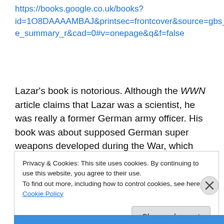https://books.google.co.uk/books?id=1O8DAAAAAmBAJ&printsec=frontcover&source=gbs_ge_summary_r&cad=0#v=onepage&q&f=false
Lazar's book is notorious. Although the WWN article claims that Lazar was a scientist, he was really a former German army officer. His book was about supposed German super weapons developed during the War, which included flying saucers. It's one of the major sources for the Nazi saucer myth, which returned once again to haunt Ufology back in the 1990s. Apart from ordinary people,
Privacy & Cookies: This site uses cookies. By continuing to use this website, you agree to their use.
To find out more, including how to control cookies, see here: Cookie Policy
Close and accept